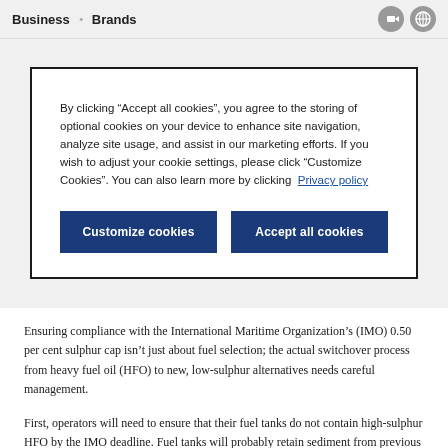Business  Brands
By clicking “Accept all cookies”, you agree to the storing of optional cookies on your device to enhance site navigation, analyze site usage, and assist in our marketing efforts. If you wish to adjust your cookie settings, please click “Customize Cookies”. You can also learn more by clicking  Privacy policy
Customize cookies  Accept all cookies
Ensuring compliance with the International Maritime Organization’s (IMO) 0.50 per cent sulphur cap isn’t just about fuel selection; the actual switchover process from heavy fuel oil (HFO) to new, low-sulphur alternatives needs careful management.
First, operators will need to ensure that their fuel tanks do not contain high-sulphur HFO by the IMO deadline. Fuel tanks will probably retain sediment from previous bunkers, which is likely to contain high levels of